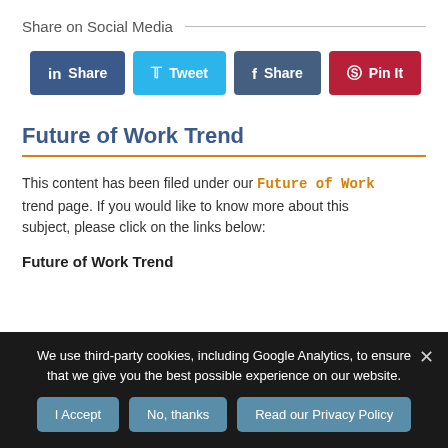Share on Social Media
[Figure (other): Social media share buttons: LinkedIn Share, Tweet, Facebook Share, Pinterest Pin It]
Future of Work Trend
This content has been filed under our Future of Work trend page. If you would like to know more about this subject, please click on the links below:
Future of Work Trend
We use third-party cookies, including Google Analytics, to ensure that we give you the best possible experience on our website.
[Figure (other): Cookie consent buttons: I Accept, No thanks, Read our Privacy Policy]